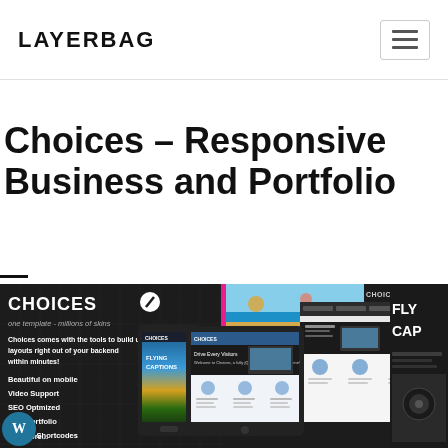LAYERBAG
Choices – Responsive Business and Portfolio
[Figure (screenshot): Screenshot of the Choices WordPress theme showing dark panel with logo and tagline 'one template - millions of skins', descriptive text and feature list (Beautiful on mobile, Video Support, SEO Optmized, Ajax Portfolio, Tons of Shortcodes, and more...), along with tablet and mobile device mockups and web browser previews of the theme in various color schemes. WordPress logo visible at bottom left.]